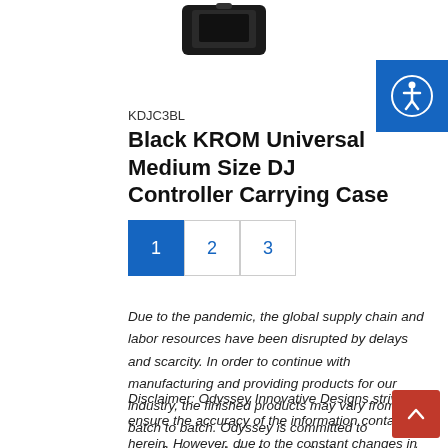[Figure (photo): Partial view of a black DJ controller carrying case product image at the top of the page]
[Figure (other): Blue accessibility icon button in top right corner]
KDJC3BL
Black KROM Universal Medium Size DJ Controller Carrying Case
1 (active page), 2, 3 (pagination)
Due to the pandemic, the global supply chain and labor resources have been disrupted by delays and scarcity. In order to continue with manufacturing and providing products for our industry, the finished products may vary from batch to batch. Odyssey is committed to manufacture with the best available resources at the time of production. Thank you for your understanding.
Disclaimer: Odyssey Innovative Designs strives to ensure the accuracy of the information contained herein. However, due to the constant changes in raw material availability and usage,
[Figure (other): Red scroll-to-top button with upward chevron arrow in bottom right corner]